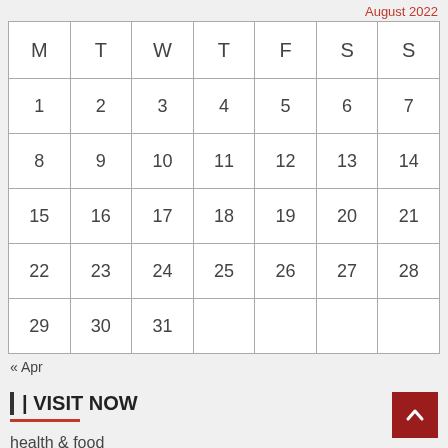August 2022
| M | T | W | T | F | S | S |
| --- | --- | --- | --- | --- | --- | --- |
| 1 | 2 | 3 | 4 | 5 | 6 | 7 |
| 8 | 9 | 10 | 11 | 12 | 13 | 14 |
| 15 | 16 | 17 | 18 | 19 | 20 | 21 |
| 22 | 23 | 24 | 25 | 26 | 27 | 28 |
| 29 | 30 | 31 |  |  |  |  |
« Apr
VISIT NOW
health & food